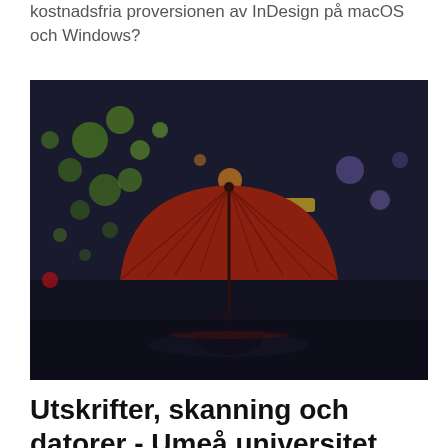kostnadsfria proversionen av InDesign på macOS och Windows?
[Figure (photo): Night street scene with a person holding a red umbrella, bokeh lights of green and orange in the background, dark atmospheric city setting.]
Utskrifter, skanning och datorer - Umeå universitet